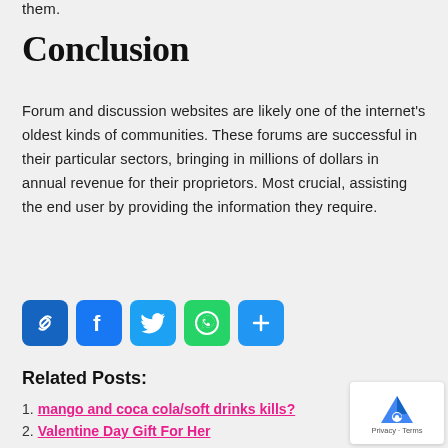them.
Conclusion
Forum and discussion websites are likely one of the internet's oldest kinds of communities. These forums are successful in their particular sectors, bringing in millions of dollars in annual revenue for their proprietors. Most crucial, assisting the end user by providing the information they require.
[Figure (infographic): Social share buttons: link (blue), Facebook (blue), Twitter (light blue), WhatsApp (green), More/share (blue)]
Related Posts:
mango and coca cola/soft drinks kills?
Valentine Day Gift For Her
Valentines Day Ideas